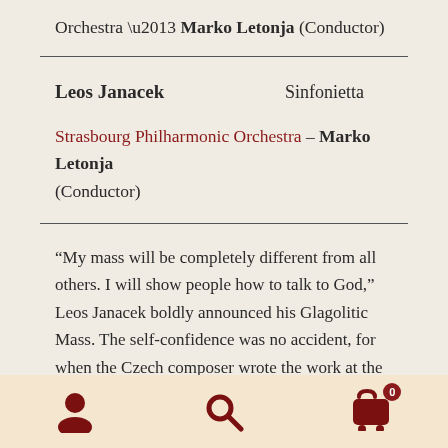Orchestra – Marko Letonja (Conductor)
| Leos Janacek | Sinfonietta |
Strasbourg Philharmonic Orchestra – Marko Letonja (Conductor)
“My mass will be completely different from all others. I will show people how to talk to God,” Leos Janacek boldly announced his Glagolitic Mass. The self-confidence was no accident, for when the Czech composer wrote the work at the age of 73, he was at the height of his musical expressiveness. The Orchestre